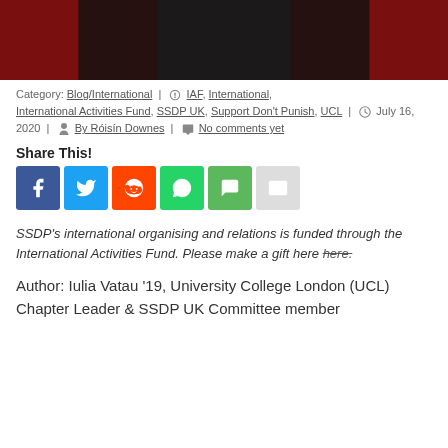[Figure (photo): Top portion of a photo showing a person in a dark outfit against a red background, partially cropped]
Category: Blog/International | IAF, International, International Activities Fund, SSDP UK, Support Don't Punish, UCL | July 16, 2020 | By Róisín Downes | No comments yet
Share This!
[Figure (infographic): Social share buttons: Facebook (blue), Twitter (blue), Reddit (orange), WhatsApp (green), SMS (green), Email (grey)]
SSDP's international organising and relations is funded through the International Activities Fund. Please make a gift here here.
Author: Iulia Vatau '19, University College London (UCL) Chapter Leader & SSDP UK Committee member